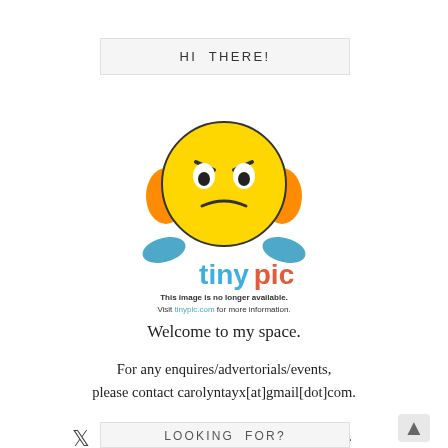HI THERE!
[Figure (illustration): Tinypic placeholder image showing a cartoon emoji character with a frowning face, orange ears, blue hands, and the tinypic logo below with text: 'This image is no longer available. Visit tinypic.com for more information.']
Welcome to my space.
For any enquires/advertorials/events, please contact carolyntayx[at]gmail[dot]com.
[Figure (infographic): Row of social media icons: Twitter, Facebook, Instagram, Snapchat, Pinterest, heart/Bloglovin, Google+]
LOOKING FOR?